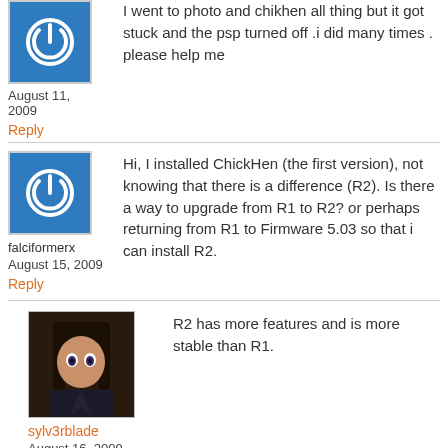[Figure (other): Blue power button avatar icon (partial, top)]
August 11, 2009
I went to photo and chikhen all thing but it got stuck and the psp turned off .i did many times . please help me
Reply
[Figure (other): Blue power button avatar icon]
falciformerx
August 15, 2009
Reply
Hi, I installed ChickHen (the first version), not knowing that there is a difference (R2). Is there a way to upgrade from R1 to R2? or perhaps returning from R1 to Firmware 5.03 so that i can install R2.
[Figure (photo): Anime-style character photo avatar for sylv3rblade]
sylv3rblade
August 16, 2009
Reply
R2 has more features and is more stable than R1.
[Figure (other): Blue power button avatar icon (partial, bottom)]
Mini Miudo
hi there!!